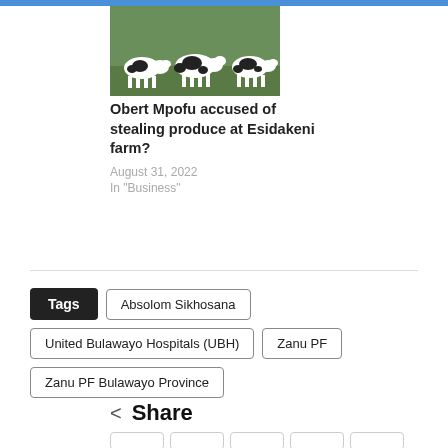[Figure (photo): Black and white dairy cows standing on grass]
Obert Mpofu accused of stealing produce at Esidakeni farm?
August 31, 2022
In "Business"
Tags
Absolom Sikhosana
United Bulawayo Hospitals (UBH)
Zanu PF
Zanu PF Bulawayo Province
Share